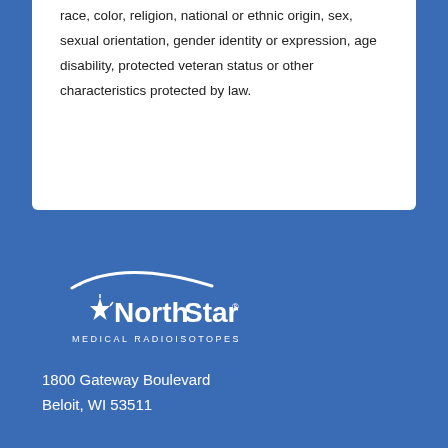employer. Employment decisions are made without regard to race, color, religion, national or ethnic origin, sex, sexual orientation, gender identity or expression, age disability, protected veteran status or other characteristics protected by law.
[Figure (logo): NorthStar Medical Radioisotopes logo — white star and arc graphic with 'NorthStar' in large text and 'MEDICAL RADIOISOTOPES' in smaller text beneath]
1800 Gateway Boulevard
Beloit, WI 53511